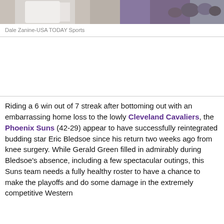[Figure (photo): Cropped sports photo strip showing basketball players, partial view of players in white and purple uniforms with crowd in background]
Dale Zanine-USA TODAY Sports
Riding a 6 win out of 7 streak after bottoming out with an embarrassing home loss to the lowly Cleveland Cavaliers, the Phoenix Suns (42-29) appear to have successfully reintegrated budding star Eric Bledsoe since his return two weeks ago from knee surgery. While Gerald Green filled in admirably during Bledsoe's absence, including a few spectacular outings, this Suns team needs a fully healthy roster to have a chance to make the playoffs and do some damage in the extremely competitive Western